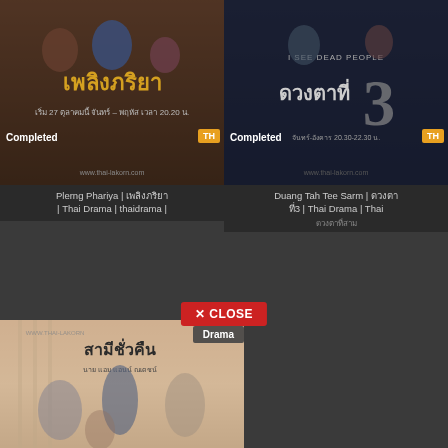[Figure (photo): Thai drama poster for Plerng Phariya with 'Completed' badge and TH label]
Plerng Phariya | เพลิงภริยา | Thai Drama | thaidrama |
[Figure (photo): Thai drama poster for Duang Tah Tee Sarm with 'Completed' badge and TH label]
Duang Tah Tee Sarm | ดวงตาที่ 3 | Thai Drama | Thai
✕ CLOSE
[Figure (photo): Thai drama poster for Samee Chua Kuen with Drama badge]
Drama